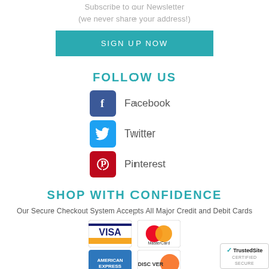Subscribe to our Newsletter
(we never share your address!)
SIGN UP NOW
FOLLOW US
Facebook
Twitter
Pinterest
SHOP WITH CONFIDENCE
Our Secure Checkout System Accepts All Major Credit and Debit Cards
[Figure (other): Payment card logos: Visa, MasterCard, American Express, Discover]
[Figure (logo): TrustedSite Certified Secure badge]